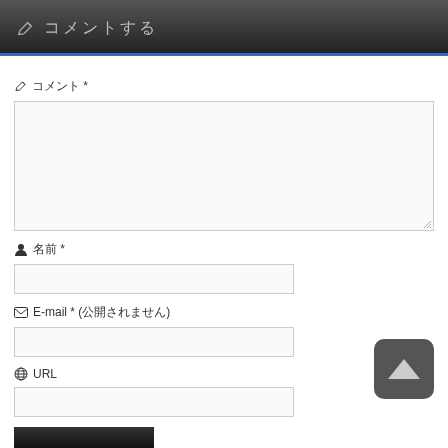コメントする
コメント *
[Figure (screenshot): Large textarea input box for comment]
名前 *
[Figure (screenshot): Text input box for name]
E-mail * (公開されません)
[Figure (screenshot): Text input box for email]
URL
[Figure (screenshot): Text input box for URL]
[Figure (screenshot): Submit button (dark gradient bar)]
[Figure (screenshot): Up/scroll button - dark rounded square with upward arrow]